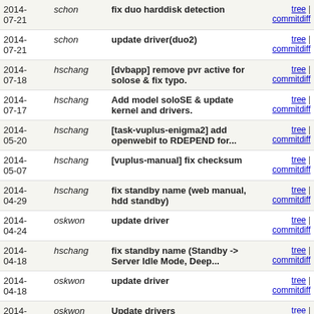| Date | Author | Description | Links |
| --- | --- | --- | --- |
| 2014-07-21 | schon | fix duo harddisk detection | tree | commitdiff |
| 2014-07-21 | schon | update driver(duo2) | tree | commitdiff |
| 2014-07-18 | hschang | [dvbapp] remove pvr active for solose & fix typo. | tree | commitdiff |
| 2014-07-17 | hschang | Add model soloSE & update kernel and drivers. | tree | commitdiff |
| 2014-05-20 | hschang | [task-vuplus-enigma2] add openwebif to RDEPEND for... | tree | commitdiff |
| 2014-05-07 | hschang | [vuplus-manual] fix checksum | tree | commitdiff |
| 2014-04-29 | hschang | fix standby name (web manual, hdd standby) | tree | commitdiff |
| 2014-04-24 | oskwon | update driver | tree | commitdiff |
| 2014-04-18 | hschang | fix standby name (Standby -> Server Idle Mode, Deep... | tree | commitdiff |
| 2014-04-18 | oskwon | update driver | tree | commitdiff |
| 2014-04-03 | oskwon | Update drivers | tree | commitdiff |
| 2014-03-28 | hschang | update web-manual for vusolo2/vuduo2. | tree | commitdiff |
| 2014-03-21 | hschang | Fix duo2 flash size. | tree | commitdiff |
| 2014-... | ... | Update ... | tree |